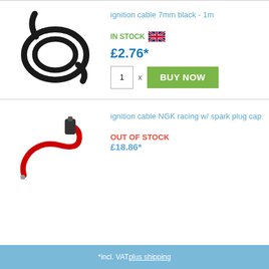[Figure (photo): Black ignition cable coiled, 7mm, 1 meter]
ignition cable 7mm black - 1m
IN STOCK
£2.76*
[Figure (other): Buy Now button with quantity 1]
[Figure (photo): Red ignition cable NGK racing with spark plug cap]
ignition cable NGK racing w/ spark plug cap
OUT OF STOCK
£18.86*
*incl. VAT plus shipping